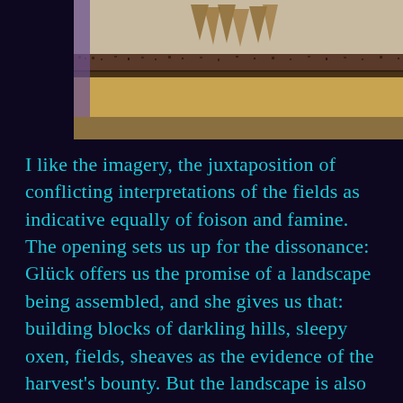[Figure (photo): A cropped manuscript illumination showing a landscape scene with sheaves of grain, fields, and what appears to be a dark blue sky at top. The image shows tan/golden horizontal bands resembling harvested fields, with dark ornamental borders and a brownish-gold band at the bottom.]
I like the imagery, the juxtaposition of conflicting interpretations of the fields as indicative equally of foison and famine. The opening sets us up for the dissonance: Glück offers us the promise of a landscape being assembled, and she gives us that: building blocks of darkling hills, sleepy oxen, fields, sheaves as the evidence of the harvest's bounty. But the landscape is also one of disintegration. The gathering darkness  will cause the visual dissolution of the scene, the